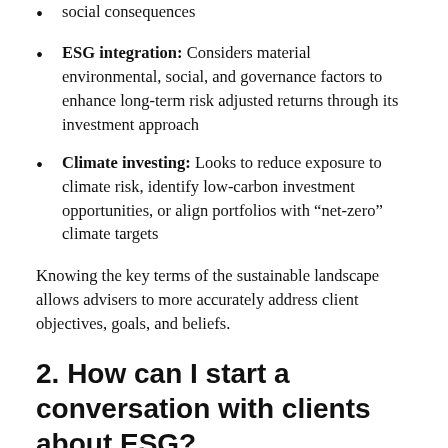social consequences
ESG integration: Considers material environmental, social, and governance factors to enhance long-term risk adjusted returns through its investment approach
Climate investing: Looks to reduce exposure to climate risk, identify low-carbon investment opportunities, or align portfolios with “net-zero” climate targets
Knowing the key terms of the sustainable landscape allows advisers to more accurately address client objectives, goals, and beliefs.
2. How can I start a conversation with clients about ESG?
Begin by asking what motivates clients. Typically